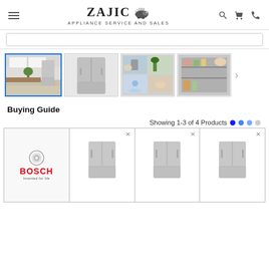ZAJIC APPLIANCE SERVICE AND SALES
[Figure (screenshot): Thumbnail image 1 (active/selected): kitchen scene with white cabinets and stainless refrigerator]
[Figure (screenshot): Thumbnail image 2: stainless steel French door refrigerator front view]
[Figure (screenshot): Thumbnail image 3: hands and water/ice dispenser collage]
[Figure (screenshot): Thumbnail image 4: refrigerator interior shelf with food items]
Buying Guide
Showing 1-3 of 4 Products
[Figure (photo): Bosch brand logo with 'Invented for life' tagline]
[Figure (photo): Product 1: stainless steel French door refrigerator with X (close) button]
[Figure (photo): Product 2: stainless steel French door refrigerator with X (close) button]
[Figure (photo): Product 3: stainless steel French door refrigerator with X (close) button]